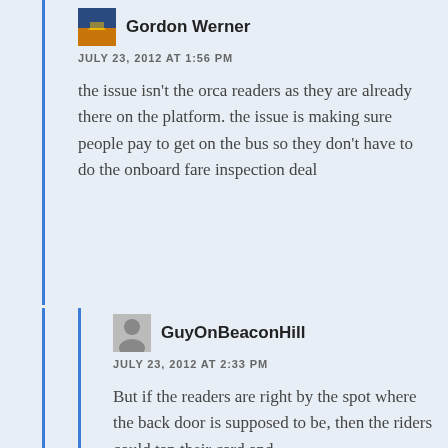Gordon Werner
JULY 23, 2012 AT 1:56 PM
the issue isn't the orca readers as they are already there on the platform. the issue is making sure people pay to get on the bus so they don't have to do the onboard fare inspection deal
GuyOnBeaconHill
JULY 23, 2012 AT 2:33 PM
But if the readers are right by the spot where the back door is supposed to be, then the riders could tap their card and